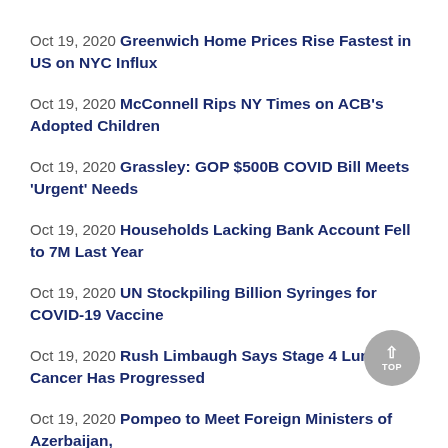Oct 19, 2020 Greenwich Home Prices Rise Fastest in US on NYC Influx
Oct 19, 2020 McConnell Rips NY Times on ACB's Adopted Children
Oct 19, 2020 Grassley: GOP $500B COVID Bill Meets 'Urgent' Needs
Oct 19, 2020 Households Lacking Bank Account Fell to 7M Last Year
Oct 19, 2020 UN Stockpiling Billion Syringes for COVID-19 Vaccine
Oct 19, 2020 Rush Limbaugh Says Stage 4 Lung Cancer Has Progressed
Oct 19, 2020 Pompeo to Meet Foreign Ministers of Azerbaijan,